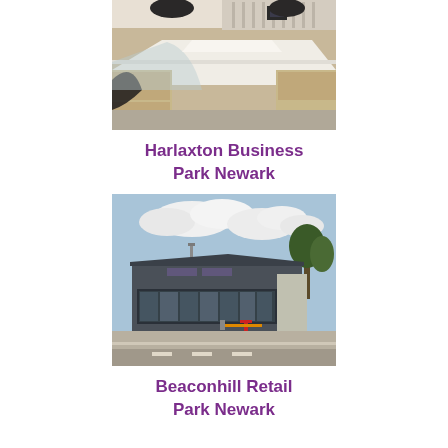[Figure (photo): Interior office photo showing white desks and office chairs in a modern workspace]
Harlaxton Business Park Newark
[Figure (photo): Exterior photo of a large commercial/retail building with dark grey cladding, glass frontage, and a car park in front under a cloudy sky]
Beaconhill Retail Park Newark